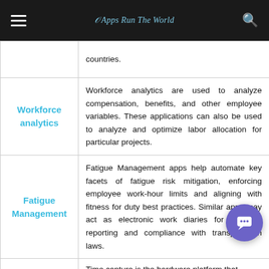Apps Run The World
| Category | Description |
| --- | --- |
|  | countries. |
| Workforce analytics | Workforce analytics are used to analyze compensation, benefits, and other employee variables. These applications can also be used to analyze and optimize labor allocation for particular projects. |
| Fatigue Management | Fatigue Management apps help automate key facets of fatigue risk mitigation, enforcing employee work-hour limits and aligning with fitness for duty best practices. Similar apps may act as electronic work diaries for real-time reporting and compliance with transportation laws. |
|  | Time capture is the hardware platform that |